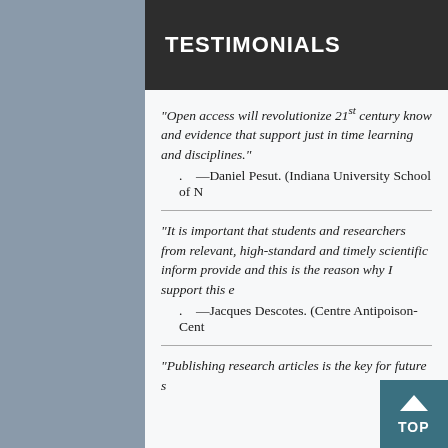TESTIMONIALS
"Open access will revolutionize 21st century know and evidence that support just in time learning and disciplines."
. —Daniel Pesut. (Indiana University School of N
"It is important that students and researchers from relevant, high-standard and timely scientific inform provide and this is the reason why I support this e
. —Jacques Descotes. (Centre Antipoison-Cent
"Publishing research articles is the key for future s
[Figure (logo): The Open Anesthesia Journal circular logo with stethoscope and medical cross]
Copyright © 2022 Terms and Conditions | Privacy Policy
TOP